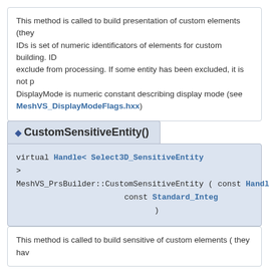This method is called to build presentation of custom elements (they IDs is set of numeric identificators of elements for custom building. ID exclude from processing. If some entity has been excluded, it is not p DisplayMode is numeric constant describing display mode (see MeshVS_DisplayModeFlags.hxx)
◆ CustomSensitiveEntity()
virtual Handle< Select3D_SensitiveEntity >
MeshVS_PrsBuilder::CustomSensitiveEntity ( const Handle< SelectI
                                             const Standard_Integ
                                           )
This method is called to build sensitive of custom elements ( they hav